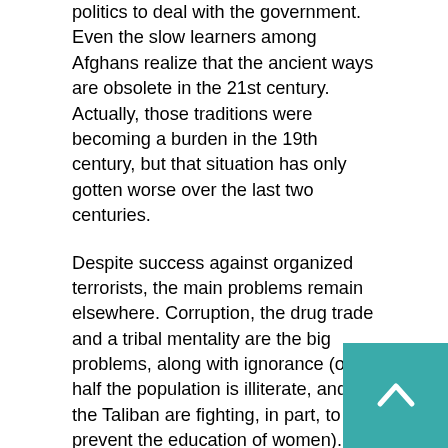politics to deal with the government. Even the slow learners among Afghans realize that the ancient ways are obsolete in the 21st century. Actually, those traditions were becoming a burden in the 19th century, but that situation has only gotten worse over the last two centuries.
Despite success against organized terrorists, the main problems remain elsewhere. Corruption, the drug trade and a tribal mentality are the big problems, along with ignorance (over half the population is illiterate, and the Taliban are fighting, in part, to prevent the education of women). Corruption is a cancer that prevents a central government from operating efficiently, and building any loyalty among the people. The drug trade finances warlords and independent minded tribes, while also fostering a lack of respect for any law. The tribal mentality is one that hinders cooperation, not to mention political or economic progress. Many